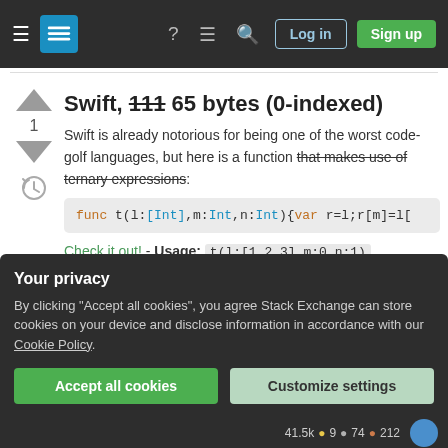Stack Exchange navigation bar with Log in and Sign up buttons
Swift, 111 65 bytes (0-indexed)
Swift is already notorious for being one of the worst code-golf languages, but here is a function that makes use of ternary expressions:
func t(l:[Int],m:Int,n:Int){var r=l;r[m]=l[
Check it out! - Usage: t(l:[1,2,3],m:0,n:1) .
Your privacy
By clicking "Accept all cookies", you agree Stack Exchange can store cookies on your device and disclose information in accordance with our Cookie Policy.
41.5k 9 74 212